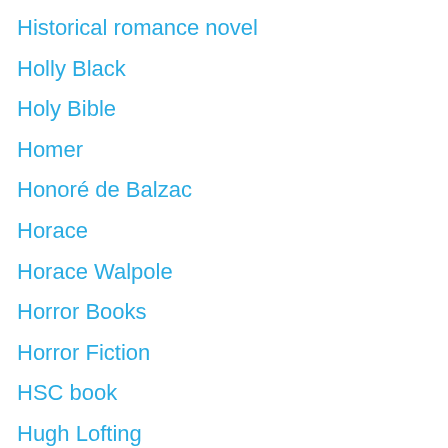Historical romance novel
Holly Black
Holy Bible
Homer
Honoré de Balzac
Horace
Horace Walpole
Horror Books
Horror Fiction
HSC book
Hugh Lofting
Humorous Fiction
Humour